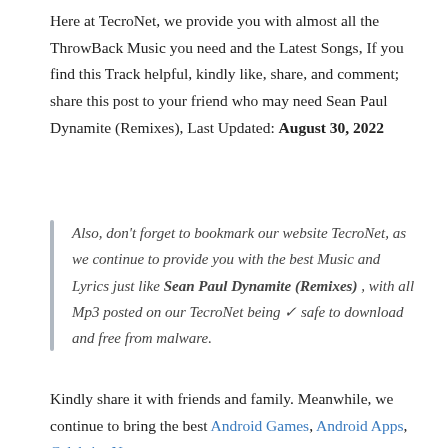Here at TecroNet, we provide you with almost all the ThrowBack Music you need and the Latest Songs, If you find this Track helpful, kindly like, share, and comment; share this post to your friend who may need Sean Paul Dynamite (Remixes), Last Updated: August 30, 2022
Also, don't forget to bookmark our website TecroNet, as we continue to provide you with the best Music and Lyrics just like Sean Paul Dynamite (Remixes) , with all Mp3 posted on our TecroNet being ✓ safe to download and free from malware.
Kindly share it with friends and family. Meanwhile, we continue to bring the best Android Games, Android Apps, Celebrity Net